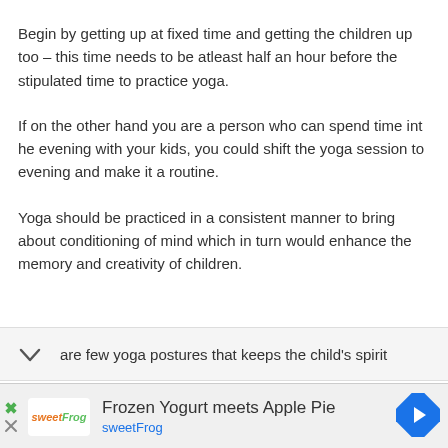Begin by getting up at fixed time and getting the children up too – this time needs to be atleast half an hour before the stipulated time to practice yoga.
If on the other hand you are a person who can spend time int he evening with your kids, you could shift the yoga session to evening and make it a routine.
Yoga should be practiced in a consistent manner to bring about conditioning of mind which in turn would enhance the memory and creativity of children.
are few yoga postures that keeps the child's spirit
Frozen Yogurt meets Apple Pie
sweetFrog